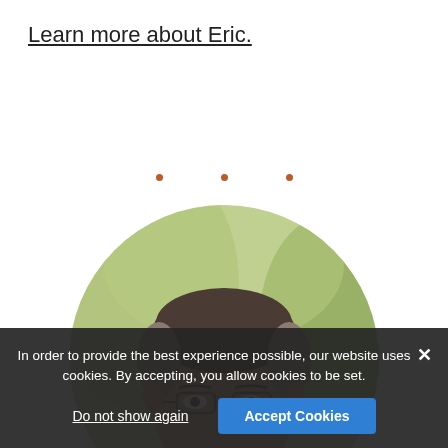Learn more about Eric.
[Figure (photo): Three small orange/brown bullet dots in a row]
[Figure (photo): Circular cropped headshot photo of a middle-aged man with glasses, dark hair with gray, smiling, wearing a dark suit jacket. Background shows blurred green foliage.]
In order to provide the best experience possible, our website uses cookies. By accepting, you allow cookies to be set.
Do not show again
Accept Cookies